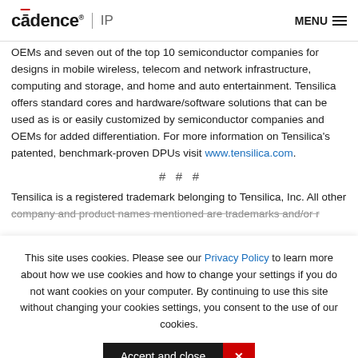cadence IP  MENU
OEMs and seven out of the top 10 semiconductor companies for designs in mobile wireless, telecom and network infrastructure, computing and storage, and home and auto entertainment. Tensilica offers standard cores and hardware/software solutions that can be used as is or easily customized by semiconductor companies and OEMs for added differentiation. For more information on Tensilica's patented, benchmark-proven DPUs visit www.tensilica.com.
# # #
Tensilica is a registered trademark belonging to Tensilica, Inc. All other company and product names mentioned are trademarks and/or registered trademarks of their respective owners.
This site uses cookies. Please see our Privacy Policy to learn more about how we use cookies and how to change your settings if you do not want cookies on your computer. By continuing to use this site without changing your cookies settings, you consent to the use of our cookies.